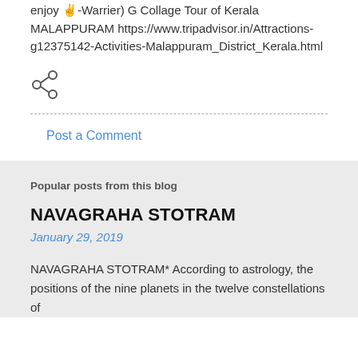enjoy ✌-Warrier) G Collage Tour of Kerala MALAPPURAM https://www.tripadvisor.in/Attractions-g12375142-Activities-Malappuram_District_Kerala.html
[Figure (other): Share icon (less-than style share symbol)]
Post a Comment
Popular posts from this blog
NAVAGRAHA STOTRAM
January 29, 2019
NAVAGRAHA STOTRAM* According to astrology, the positions of the nine planets in the twelve constellations of